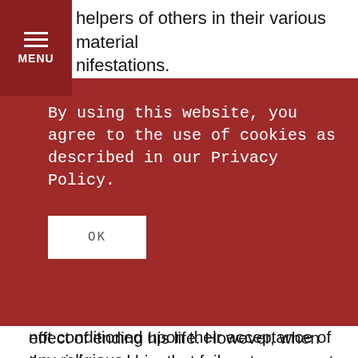helpers of others in their various material manifestations.
Our Vaisnava acaryas have clearly modelled the role of compassionate servant for our benefit. Haridasa Thakura, associate of Sri Caitanya Mahaprabhu and the acarya of the holy name, embodied concern for others in his response to the soldiers who were ordered to execute him. Because of his great spiritual potency, their severe beatings did not have the expected effect of ending his life. However, when they informed him that failure to carry out their instructions and
By using this website, you agree to the use of cookies as described in our Privacy Policy.
OK
not conditioned upon their acceptance of any religious